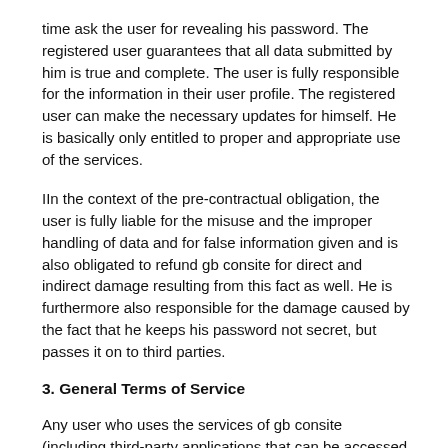time ask the user for revealing his password. The registered user guarantees that all data submitted by him is true and complete. The user is fully responsible for the information in their user profile. The registered user can make the necessary updates for himself. He is basically only entitled to proper and appropriate use of the services.
IIn the context of the pre-contractual obligation, the user is fully liable for the misuse and the improper handling of data and for false information given and is also obligated to refund gb consite for direct and indirect damage resulting from this fact as well. He is furthermore also responsible for the damage caused by the fact that he keeps his password not secret, but passes it on to third parties.
3. General Terms of Service
Any user who uses the services of gb consite (including third-party applications that can be accessed through the applications and services of gb consite), agrees not to:
defame, denigrate or harass or mimic threaten someone or otherwise violate any other rights of